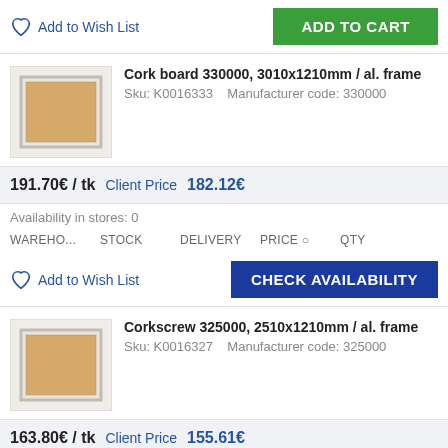Add to Wish List
ADD TO CART
Cork board 330000, 3010x1210mm / al. frame
Sku: K0016333    Manufacturer code: 330000
191.70€ / tk   Client Price 182.12€
Availability in stores: 0
WAREHO...   STOCK   DELIVERY   PRICE   QTY
Add to Wish List
CHECK AVAILABILITY
Corkscrew 325000, 2510x1210mm / al. frame
Sku: K0016327    Manufacturer code: 325000
163.80€ / tk   Client Price 155.61€